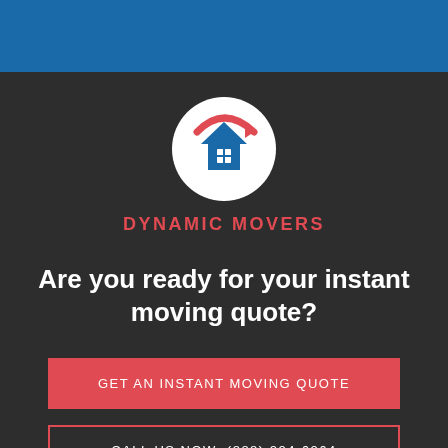[Figure (logo): Dynamic Movers logo: white circle with blue house icon and red swoosh arrow]
DYNAMIC MOVERS
Are you ready for your instant moving quote?
GET AN INSTANT MOVING QUOTE
CALL US NOW: (888) 224-6264